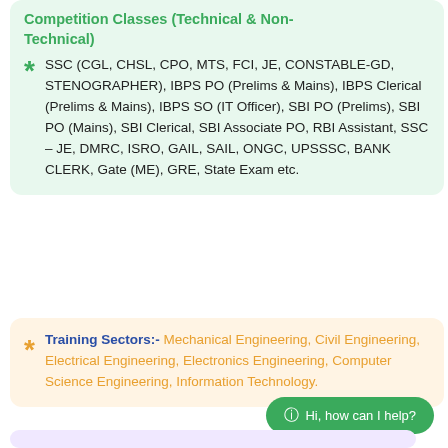Competition Classes (Technical & Non-Technical)
SSC (CGL, CHSL, CPO, MTS, FCI, JE, CONSTABLE-GD, STENOGRAPHER), IBPS PO (Prelims & Mains), IBPS Clerical (Prelims & Mains), IBPS SO (IT Officer), SBI PO (Prelims), SBI PO (Mains), SBI Clerical, SBI Associate PO, RBI Assistant, SSC – JE, DMRC, ISRO, GAIL, SAIL, ONGC, UPSSSC, BANK CLERK, Gate (ME), GRE, State Exam etc.
Training Sectors:- Mechanical Engineering, Civil Engineering, Electrical Engineering, Electronics Engineering, Computer Science Engineering, Information Technology.